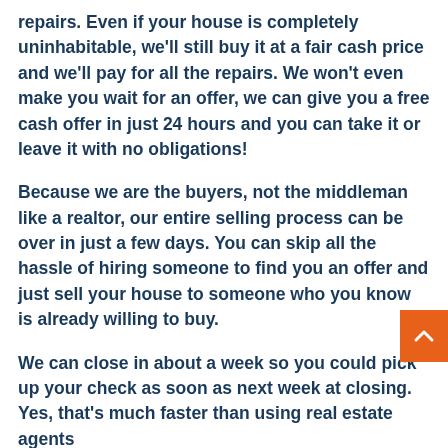repairs. Even if your house is completely uninhabitable, we'll still buy it at a fair cash price and we'll pay for all the repairs. We won't even make you wait for an offer, we can give you a free cash offer in just 24 hours and you can take it or leave it with no obligations!
Because we are the buyers, not the middleman like a realtor, our entire selling process can be over in just a few days. You can skip all the hassle of hiring someone to find you an offer and just sell your house to someone who you know is already willing to buy.
We can close in about a week so you could pick up your check as soon as next week at closing. Yes, that's much faster than using real estate agents